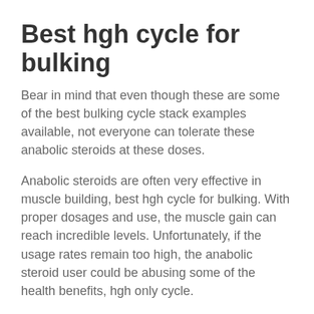Best hgh cycle for bulking
Bear in mind that even though these are some of the best bulking cycle stack examples available, not everyone can tolerate these anabolic steroids at these doses.
Anabolic steroids are often very effective in muscle building, best hgh cycle for bulking. With proper dosages and use, the muscle gain can reach incredible levels. Unfortunately, if the usage rates remain too high, the anabolic steroid user could be abusing some of the health benefits, hgh only cycle.
In addition to their long history of abuse as performance-enhancing drugs, it should be stressed that this information does not replace medical advice and should not be